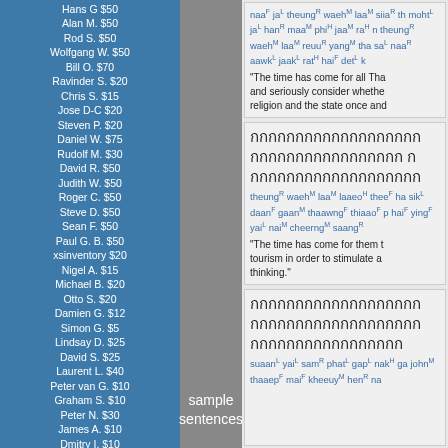Hans G $50
Alan M. $50
Rod S. $50
Wolfgang W. $50
Bill O. $70
Ravinder S. $20
Chris S. $15
Jose D-C $20
Steven P. $20
Daniel W. $75
Rudolf M. $30
David R. $50
Judith W. $50
Roger C. $50
Steve D. $50
Sean F. $50
Paul G. B. $50
xsinventory $20
Nigel A. $15
Michael B. $20
Otto S. $20
Damien G. $12
Simon G. $5
Lindsay D. $25
David S. $25
Laurent L. $40
Peter van G. $10
Graham S. $10
Peter N. $30
James A. $10
Dmitry I. $10
Edward R. $50
Roderick S. $30
Mason S. $5
Henning E. $20
John F. $20
Daniel F. $10
Armand H. $20
Daniel S. $20
James McD. $20
Shane McG. $10
sample sentences
naaF jaL theungR waehM laaM siiaR th... mohtL jaL hanR maaM phiH jaaM raH n... theungR waehM laaM reuuR yangM tha... saL naaR aawkL jaakL ratH haiF detL k... "The time has come for all Tha... and seriously consider whether... religion and the state once and..."
[Thai text block 1 - three lines of Thai script]
theungR waehM laaM laaeoH theeF ha... sikL daanF gaanM thaawngF thiaaoF p... haiF yingF yaiL naiM cheerngM saangR... "The time has come for them t... tourism in order to stimulate a... thinking."
[Thai text block 2 - three lines of Thai script]
suaanL yaiL samR phatL gapL nakH ga... johnM thaaepF maiF kheeuyM henR na... [continues]